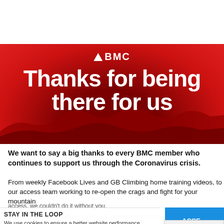[Figure (illustration): Red banner with BMC logo and text 'Thanks for being there for us' on a red mountain landscape background]
We want to say a big thanks to every BMC member who continues to support us through the Coronavirus crisis.
From weekly Facebook Lives and GB Climbing home training videos, to our access team working to re-open the crags and fight for your mountain access, we couldn't do it without you.
Did you know that we've launched a U27 membership offer for month? And with full membership from £2.50 / month, it's he to join and support our work.
STAY IN THE LOOP
We use cookies to ensure a better website performance and to give you a more tailored experience. By continuing to use consent to our cookie policy.